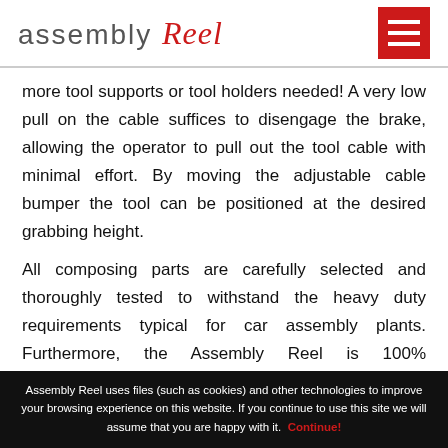assembly Reel
more tool supports or tool holders needed! A very low pull on the cable suffices to disengage the brake, allowing the operator to pull out the tool cable with minimal effort. By moving the adjustable cable bumper the tool can be positioned at the desired grabbing height.
All composing parts are carefully selected and thoroughly tested to withstand the heavy duty requirements typical for car assembly plants. Furthermore, the Assembly Reel is 100% maintenance free and contains any traces of
Assembly Reel uses files (such as cookies) and other technologies to improve your browsing experience on this website. If you continue to use this site we will assume that you are happy with it. Continue!